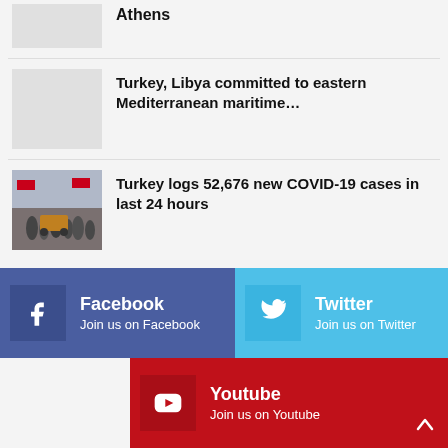Athens
Turkey, Libya committed to eastern Mediterranean maritime…
[Figure (photo): Placeholder thumbnail image for Libya/Turkey article]
Turkey logs 52,676 new COVID-19 cases in last 24 hours
[Figure (photo): Street market scene with people and a cart, Turkish flags visible]
Facebook
Join us on Facebook
Twitter
Join us on Twitter
Youtube
Join us on Youtube